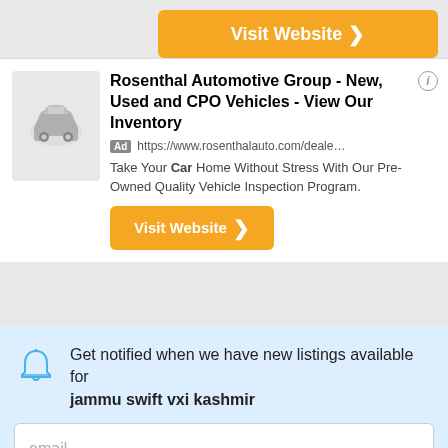[Figure (other): Orange Visit Website button with chevron at top right]
[Figure (other): Advertisement card for Rosenthal Automotive Group with car icon, ad badge, URL, description text, and orange Visit Website button]
Get notified when we have new listings available for jammu swift vxi kashmir
email